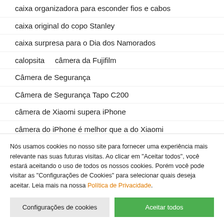caixa organizadora para esconder fios e cabos
caixa original do copo Stanley
caixa surpresa para o Dia dos Namorados
calopsita     câmera da Fujifilm
Câmera de Segurança
Câmera de Segurança Tapo C200
câmera de Xiaomi supera iPhone
câmera do iPhone é melhor que a do Xiaomi
câmera do iPhone vs Xiaomi
Nós usamos cookies no nosso site para fornecer uma experiência mais relevante nas suas futuras visitas. Ao clicar em "Aceitar todos", você estará aceitando o uso de todos os nossos cookies. Porém você pode visitar as "Configurações de Cookies" para selecionar quais deseja aceitar. Leia mais na nossa Política de Privacidade.
Configurações de cookies | Aceitar todos